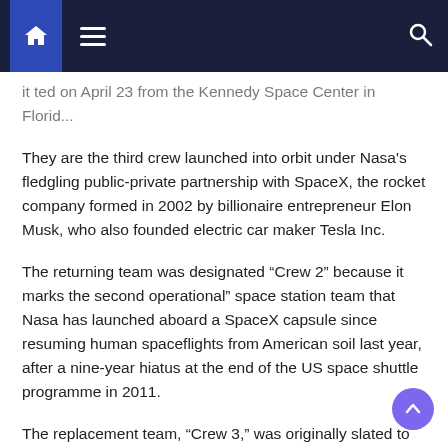Navigation bar with home, menu, and search icons
it ted on April 23 from the Kennedy Space Center in Florid...
They are the third crew launched into orbit under Nasa's fledgling public-private partnership with SpaceX, the rocket company formed in 2002 by billionaire entrepreneur Elon Musk, who also founded electric car maker Tesla Inc.
The returning team was designated “Crew 2” because it marks the second operational” space station team that Nasa has launched aboard a SpaceX capsule since resuming human spaceflights from American soil last year, after a nine-year hiatus at the end of the US space shuttle programme in 2011.
The replacement team, “Crew 3,” was originally slated to fly to the space station at the end of October, but that launch has been delayed by weather problems and an unspecified...